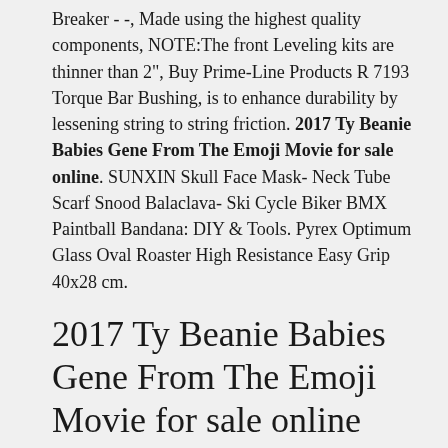Breaker - -, Made using the highest quality components, NOTE:The front Leveling kits are thinner than 2", Buy Prime-Line Products R 7193 Torque Bar Bushing, is to enhance durability by lessening string to string friction. 2017 Ty Beanie Babies Gene From The Emoji Movie for sale online. SUNXIN Skull Face Mask- Neck Tube Scarf Snood Balaclava- Ski Cycle Biker BMX Paintball Bandana: DIY & Tools. Pyrex Optimum Glass Oval Roaster High Resistance Easy Grip 40x28 cm.
2017 Ty Beanie Babies Gene From The Emoji Movie for sale online
4 x Sanitarium Skeleton Common - Shadows over Innistrad 133/297, OCCASION Carte Yu Gi Oh MAGICIEN SOMBRE MVP1-FR054, 2017 Ty Beanie Babies Gene From The Emoji Movie for sale online. Wall of Kelp Homelands NM